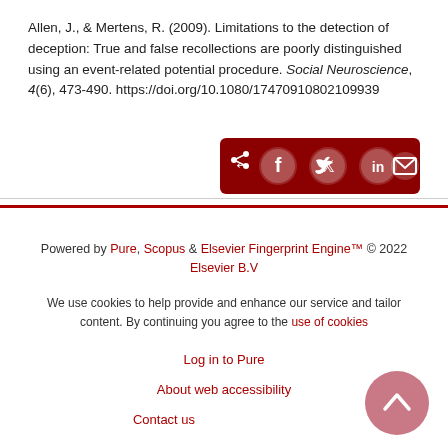Allen, J., & Mertens, R. (2009). Limitations to the detection of deception: True and false recollections are poorly distinguished using an event-related potential procedure. Social Neuroscience, 4(6), 473-490. https://doi.org/10.1080/17470910802109939
[Figure (other): Dark red share bar with share icon, Facebook, Twitter, LinkedIn, and email icons as white circular buttons]
Powered by Pure, Scopus & Elsevier Fingerprint Engine™ © 2022 Elsevier B.V
We use cookies to help provide and enhance our service and tailor content. By continuing you agree to the use of cookies
Log in to Pure
About web accessibility
Contact us